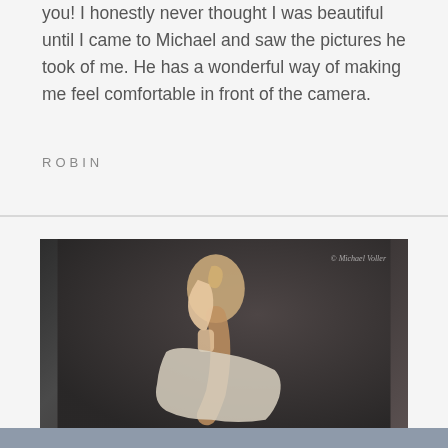you! I honestly never thought I was beautiful until I came to Michael and saw the pictures he took of me. He has a wonderful way of making me feel comfortable in front of the camera.
ROBIN
[Figure (photo): Portrait photograph of a young woman with long blonde hair in a ponytail, looking downward, wearing a light-colored top, against a dark textured background. Copyright watermark reads: © Michael Voller]